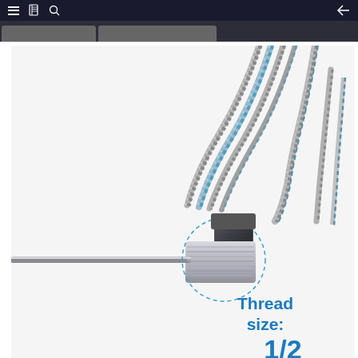Navigation bar with menu, book, search icons and back arrow
[Figure (photo): Close-up photo of a thermocouple or temperature probe component showing a stainless steel threaded fitting with a hex nut and a long thin probe rod. Braided metallic cables with blue accents curve above the fitting. A dashed blue circle highlights the threaded section. Text labels read 'Thread size:' and '1/2' in bold blue text.]